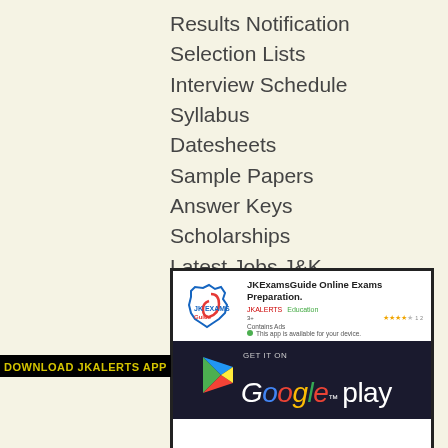Results Notification
Selection Lists
Interview Schedule
Syllabus
Datesheets
Sample Papers
Answer Keys
Scholarships
Latest Jobs J&K
[Figure (screenshot): Google Play Store listing for JKExamsGuide Online Exams Preparation app by JKALERTS, with a Get it on Google Play banner at the bottom.]
DOWNLOAD JKALERTS APP